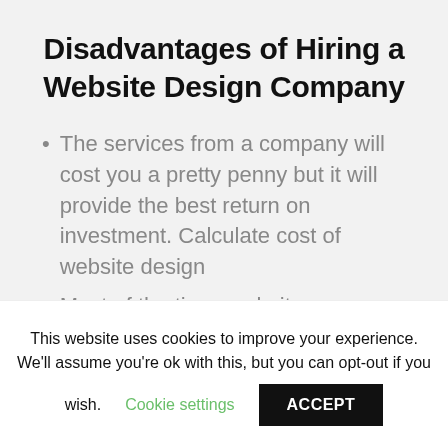Disadvantages of Hiring a Website Design Company
The services from a company will cost you a pretty penny but it will provide the best return on investment. Calculate cost of website design
Most of the time, website
This website uses cookies to improve your experience. We'll assume you're ok with this, but you can opt-out if you wish. Cookie settings ACCEPT